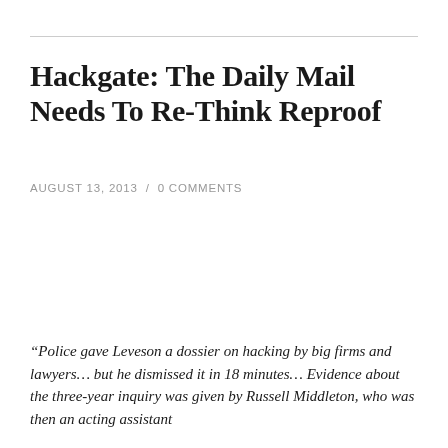Hackgate: The Daily Mail Needs To Re-Think Reproof
AUGUST 13, 2013 / 0 COMMENTS
“Police gave Leveson a dossier on hacking by big firms and lawyers… but he dismissed it in 18 minutes… Evidence about the three-year inquiry was given by Russell Middleton, who was then an acting assistant